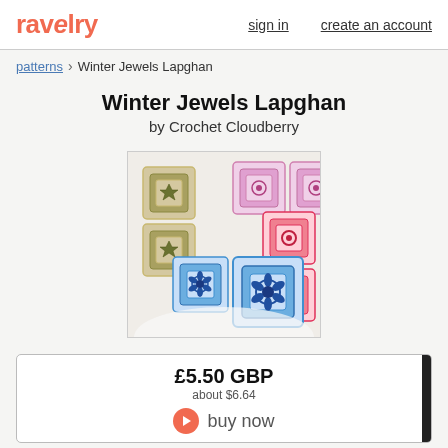ravelry   sign in   create an account
patterns > Winter Jewels Lapghan
Winter Jewels Lapghan
by Crochet Cloudberry
[Figure (photo): Crochet lapghan with colorful granny squares in olive green, purple/pink, hot pink, and blue on a cream/white background, arranged in a diagonal pattern.]
£5.50 GBP
about $6.64
buy now